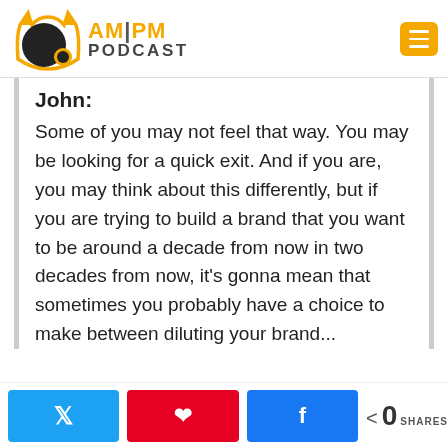[Figure (logo): AM|PM Podcast logo with cat icon and orange text]
John:
Some of you may not feel that way. You may be looking for a quick exit. And if you are, you may think about this differently, but if you are trying to build a brand that you want to be around a decade from now in two decades from now, it's gonna mean that sometimes you probably have a choice to make between diluting your brand...
< 0 SHARES [Twitter] [Pinterest] [Facebook]